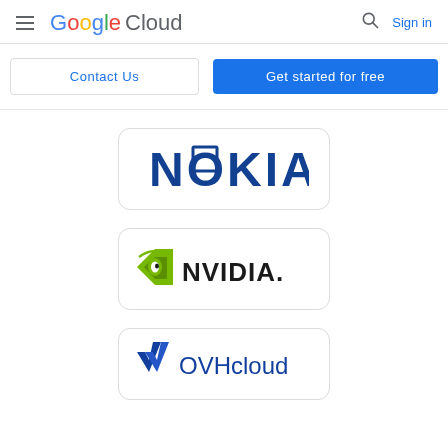Google Cloud — Sign in
Contact Us | Get started for free
[Figure (logo): Nokia logo — bold dark blue text reading NOKIA with a square outline inside the O, on a white rounded card]
[Figure (logo): NVIDIA logo — green eye/shield icon followed by NVIDIA. in dark text, on a white rounded card]
[Figure (logo): OVHcloud logo — blue and white checkmark/wing icon followed by OVHcloud text, on a white rounded card (partially visible)]